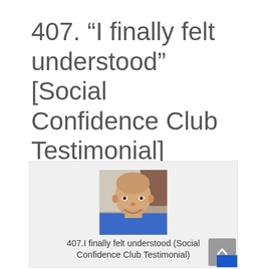407. “I finally felt understood” [Social Confidence Club Testimonial]
[Figure (photo): Headshot of a smiling bald/shaved-head man wearing a blue shirt, embedded in a light grey card. Below the photo is text reading: 407.I finally felt understood (Social Confidence Club Testimonial)]
407.I finally felt understood (Social Confidence Club Testimonial)